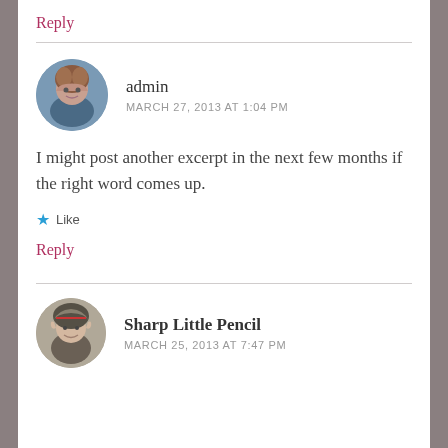Reply
admin
MARCH 27, 2013 AT 1:04 PM
I might post another excerpt in the next few months if the right word comes up.
Like
Reply
Sharp Little Pencil
MARCH 25, 2013 AT 7:47 PM